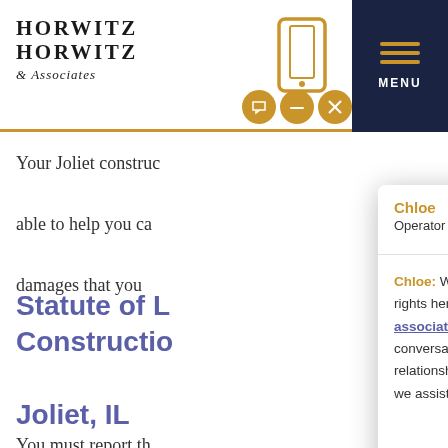[Figure (screenshot): Horwitz Horwitz & Associates law firm website screenshot with navigation bar, phone icon, and hamburger menu]
Your Joliet construction accident lawyer will be able to help you ca... damages that you...
Statute of L... Construction... Joliet, IL
You must report th... injury within 45 da... to file a worker's c... worker's injury wa...
[Figure (screenshot): Live chat widget overlay from LiveAdmins showing operator Chloe with privacy message and link to privacy policy]
Chloe: We respect your privacy. You can learn more about your rights here: https://www.horwitzlaw.com/horwitz-horwitz-associates-privacy-policy/. The information disclosed in this conversation does not constitute or create a lawyer-client relationship. Welcome to Horwitz, Horwitz & Associates. How can we assist